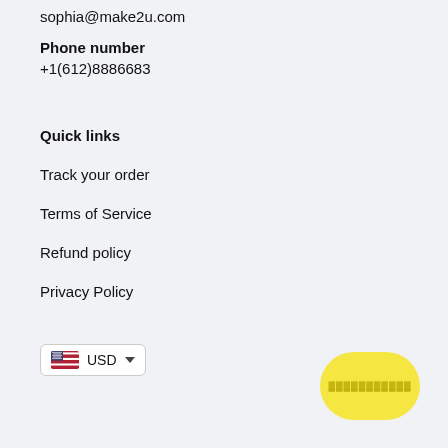sophia@make2u.com
Phone number
+1(612)8886683
Quick links
Track your order
Terms of Service
Refund policy
Privacy Policy
[Figure (other): Currency selector showing US flag, USD text and dropdown arrow]
[Figure (other): Yellow oval/pill shaped button with illegible text]